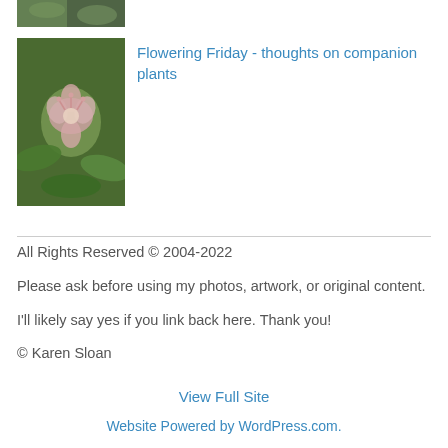[Figure (photo): Top cropped green foliage image strip]
[Figure (photo): Pink flowering plant with green leaves, companion plant photo]
Flowering Friday - thoughts on companion plants
All Rights Reserved © 2004-2022
Please ask before using my photos, artwork, or original content.
I'll likely say yes if you link back here. Thank you!
© Karen Sloan
View Full Site
Website Powered by WordPress.com.